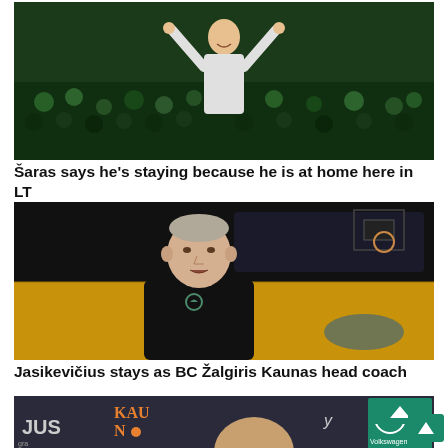[Figure (photo): Person celebrating with arms raised in a crowd at a basketball arena with green-clad fans]
Šaras says he's staying because he is at home here in LT
[Figure (photo): Man in black polo shirt sitting on basketball court being interviewed, arena seats visible in background]
Jasikevičius stays as BC Žalgiris Kaunas head coach
[Figure (photo): Press conference scene with Kaunas logo and Volkswagen sponsor banner visible, man's head visible]